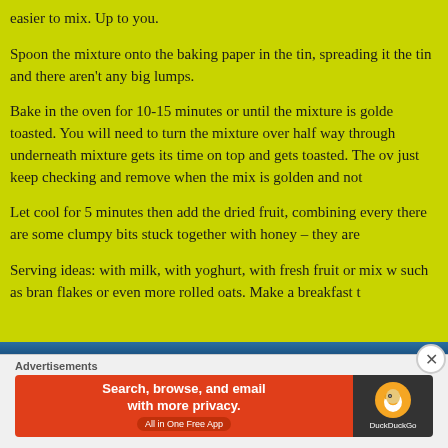easier to mix. Up to you.
Spoon the mixture onto the baking paper in the tin, spreading it the tin and there aren't any big lumps.
Bake in the oven for 10-15 minutes or until the mixture is golden toasted. You will need to turn the mixture over half way through underneath mixture gets its time on top and gets toasted. The ov just keep checking and remove when the mix is golden and not
Let cool for 5 minutes then add the dried fruit, combining every there are some clumpy bits stuck together with honey – they are
Serving ideas: with milk, with yoghurt, with fresh fruit or mix w such as bran flakes or even more rolled oats. Make a breakfast t
[Figure (screenshot): Partial image strip visible at bottom of main content area]
Advertisements
[Figure (screenshot): DuckDuckGo advertisement banner: 'Search, browse, and email with more privacy. All in One Free App' on orange background with DuckDuckGo logo on dark background]